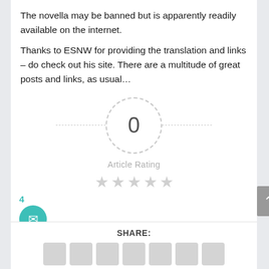The novella may be banned but is apparently readily available on the internet.
Thanks to ESNW for providing the translation and links – do check out his site. There are a multitude of great posts and links, as usual…
[Figure (infographic): Article rating widget showing a dashed circle with '0' in the center, a horizontal dashed line extending left and right from the circle, the label 'Article Rating' below, and five grey empty stars below the label.]
4
SHARE: